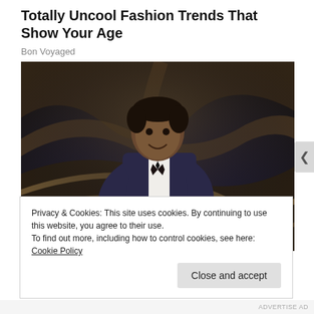Totally Uncool Fashion Trends That Show Your Age
Bon Voyaged
[Figure (photo): A man in a dark blue velvet tuxedo jacket with black bow tie, holding a red folder, standing on a stage with golden/brown curved set design in the background. He is smiling and appears to be at a formal awards ceremony.]
Privacy & Cookies: This site uses cookies. By continuing to use this website, you agree to their use.
To find out more, including how to control cookies, see here: Cookie Policy
Close and accept